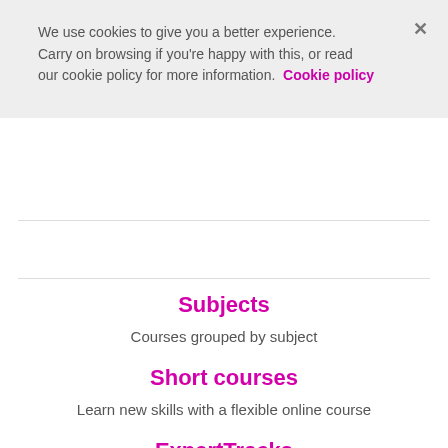We use cookies to give you a better experience. Carry on browsing if you're happy with this, or read our cookie policy for more information. Cookie policy
Subjects
Courses grouped by subject
Short courses
Learn new skills with a flexible online course
ExpertTracks
Up to date...